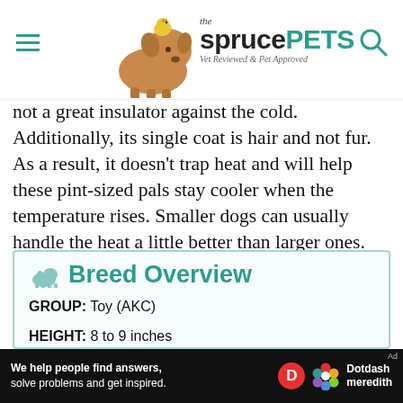the spruce PETS — Vet Reviewed & Pet Approved
not a great insulator against the cold. Additionally, its single coat is hair and not fur. As a result, it doesn't trap heat and will help these pint-sized pals stay cooler when the temperature rises. Smaller dogs can usually handle the heat a little better than larger ones.
Breed Overview
GROUP: Toy (AKC)
HEIGHT: 8 to 9 inches
[Figure (illustration): Dotdash Meredith advertisement banner: 'We help people find answers, solve problems and get inspired.']